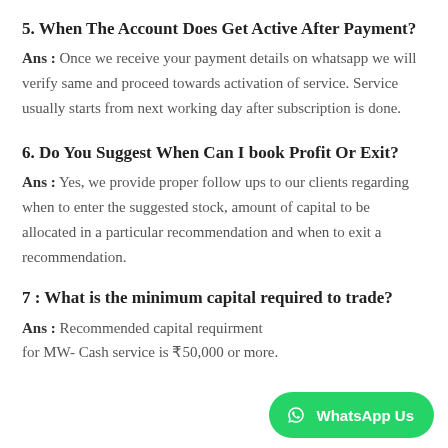5. When The Account Does Get Active After Payment?
Ans : Once we receive your payment details on whatsapp we will verify same and proceed towards activation of service. Service usually starts from next working day after subscription is done.
6. Do You Suggest When Can I book Profit Or Exit?
Ans : Yes, we provide proper follow ups to our clients regarding when to enter the suggested stock, amount of capital to be allocated in a particular recommendation and when to exit a recommendation.
7 : What is the minimum capital required to trade?
Ans : Recommended capital requirment for MW- Cash service is ₹50,000 or more.